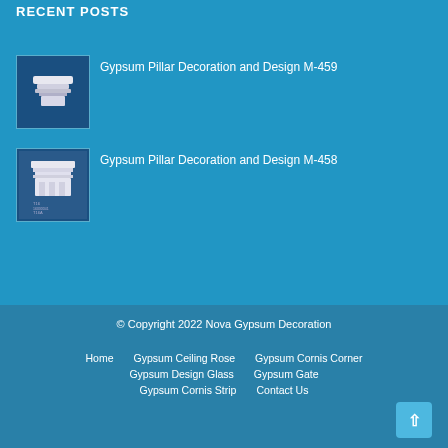RECENT POSTS
Gypsum Pillar Decoration and Design M-459
Gypsum Pillar Decoration and Design M-458
© Copyright 2022 Nova Gypsum Decoration
Home  Gypsum Ceiling Rose  Gypsum Cornis Corner  Gypsum Design Glass  Gypsum Gate  Gypsum Cornis Strip  Contact Us